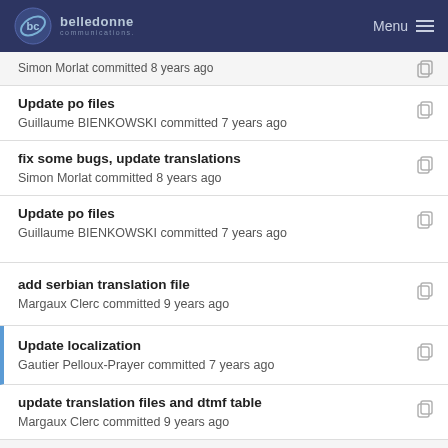belledonne communications — Menu
Simon Morlat committed 8 years ago
Update po files
Guillaume BIENKOWSKI committed 7 years ago
fix some bugs, update translations
Simon Morlat committed 8 years ago
Update po files
Guillaume BIENKOWSKI committed 7 years ago
add serbian translation file
Margaux Clerc committed 9 years ago
Update localization
Gautier Pelloux-Prayer committed 7 years ago
update translation files and dtmf table
Margaux Clerc committed 9 years ago
add new linphone command to test call redirection